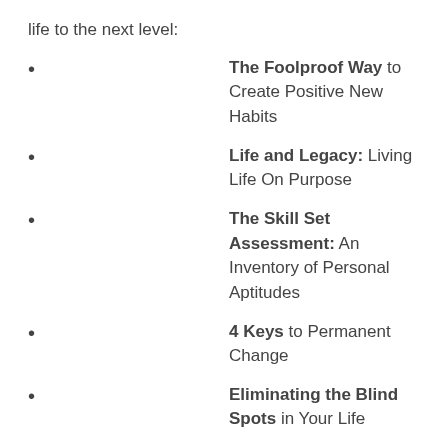life to the next level:
The Foolproof Way to Create Positive New Habits
Life and Legacy: Living Life On Purpose
The Skill Set Assessment: An Inventory of Personal Aptitudes
4 Keys to Permanent Change
Eliminating the Blind Spots in Your Life